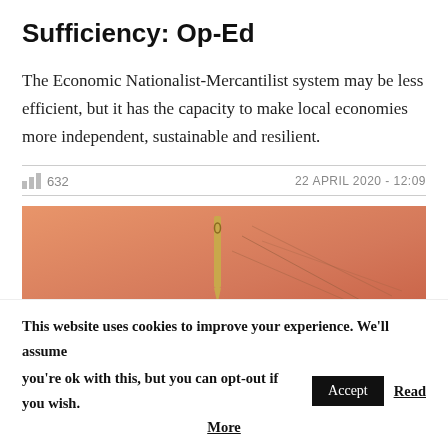Sufficiency: Op-Ed
The Economic Nationalist-Mercantilist system may be less efficient, but it has the capacity to make local economies more independent, sustainable and resilient.
632  22 APRIL 2020 - 12:09
[Figure (photo): Close-up photo of a needle or pin against a warm orange/salmon background with thin lines]
This website uses cookies to improve your experience. We'll assume you're ok with this, but you can opt-out if you wish. Accept Read More